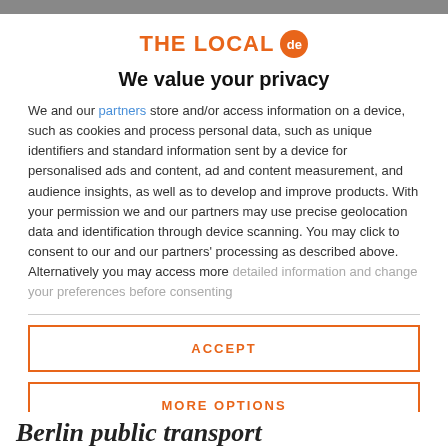[Figure (logo): THE LOCAL de logo with orange text and orange circle badge with 'de' inside]
We value your privacy
We and our partners store and/or access information on a device, such as cookies and process personal data, such as unique identifiers and standard information sent by a device for personalised ads and content, ad and content measurement, and audience insights, as well as to develop and improve products. With your permission we and our partners may use precise geolocation data and identification through device scanning. You may click to consent to our and our partners' processing as described above. Alternatively you may access more detailed information and change your preferences before consenting
ACCEPT
MORE OPTIONS
Berlin public transport